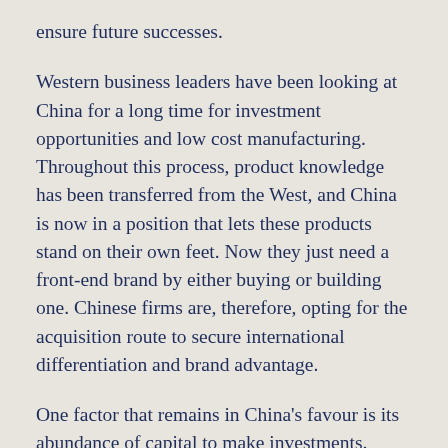ensure future successes.
Western business leaders have been looking at China for a long time for investment opportunities and low cost manufacturing. Throughout this process, product knowledge has been transferred from the West, and China is now in a position that lets these products stand on their own feet. Now they just need a front-end brand by either buying or building one. Chinese firms are, therefore, opting for the acquisition route to secure international differentiation and brand advantage.
One factor that remains in China's favour is its abundance of capital to make investments. China's trade surplus is currently in excess of $900 billion, and its state banks are offering firms favourable financing terms through with low cost of capital. When acquiring brands, firms can also cut costs by